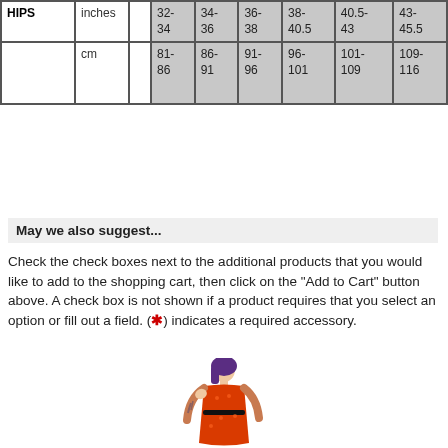| HIPS | inches |  | 32-34 | 34-36 | 36-38 | 38-40.5 | 40.5-43 | 43-45.5 |
| --- | --- | --- | --- | --- | --- | --- | --- | --- |
|  | cm |  | 81-86 | 86-91 | 91-96 | 96-101 | 101-109 | 109-116 |
May we also suggest...
Check the check boxes next to the additional products that you would like to add to the shopping cart, then click on the "Add to Cart" button above. A check box is not shown if a product requires that you select an option or fill out a field. (*) indicates a required accessory.
[Figure (photo): Woman with purple hair wearing a red patterned dress with tattoos]